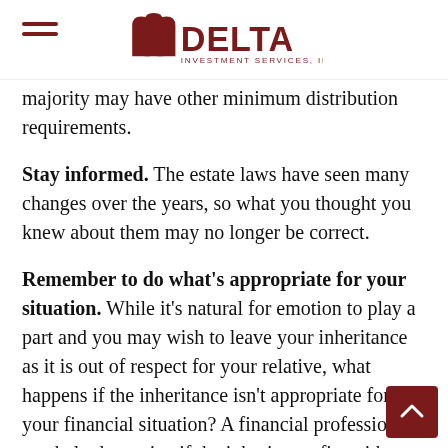Delta Investment Services, Inc.
majority may have other minimum distribution requirements.
Stay informed. The estate laws have seen many changes over the years, so what you thought you knew about them may no longer be correct.
Remember to do what's appropriate for your situation. While it's natural for emotion to play a part and you may wish to leave your inheritance as it is out of respect for your relative, what happens if the inheritance isn't appropriate for your financial situation? A financial professional can help determine if the inheritance fits with your overall goals, time horizon, and risk tolerance.